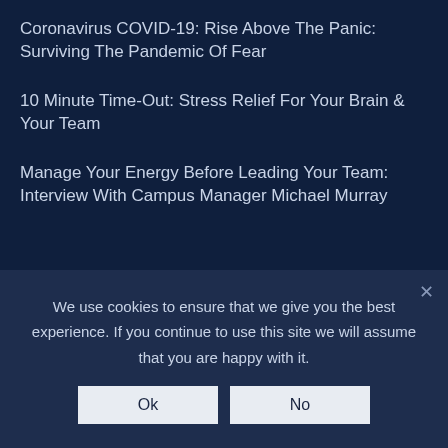Coronavirus COVID-19: Rise Above The Panic: Surviving The Pandemic Of Fear
10 Minute Time-Out: Stress Relief For Your Brain & Your Team
Manage Your Energy Before Leading Your Team: Interview With Campus Manager Michael Murray
We use cookies to ensure that we give you the best experience. If you continue to use this site we will assume that you are happy with it.